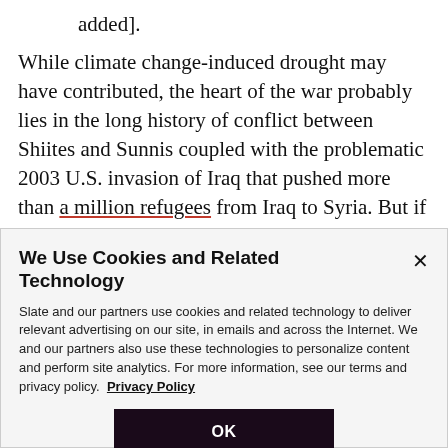added].
While climate change-induced drought may have contributed, the heart of the war probably lies in the long history of conflict between Shiites and Sunnis coupled with the problematic 2003 U.S. invasion of Iraq that pushed more than a million refugees from Iraq to Syria. But if we keep on harping on climate change as the important causal factor, it becomes easier to ignore
We Use Cookies and Related Technology
Slate and our partners use cookies and related technology to deliver relevant advertising on our site, in emails and across the Internet. We and our partners also use these technologies to personalize content and perform site analytics. For more information, see our terms and privacy policy. Privacy Policy
OK